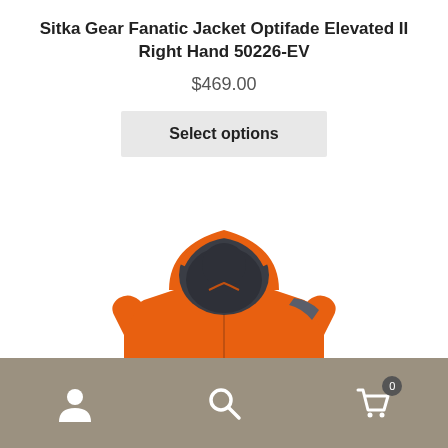Sitka Gear Fanatic Jacket Optifade Elevated II Right Hand 50226-EV
$469.00
Select options
[Figure (photo): Orange hooded Sitka Gear Fanatic Jacket with dark gray accents on the hood lining and shoulder, shown on a figure without visible head]
Navigation bar with account icon, search icon, and cart icon showing 0 items